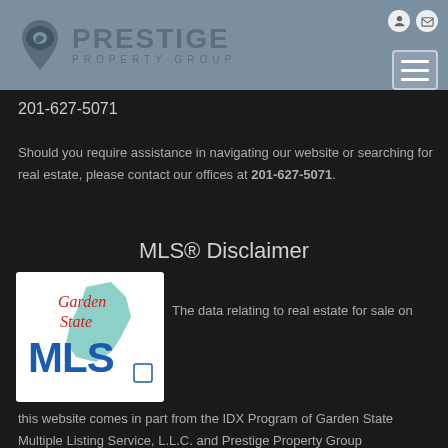[Figure (logo): Prestige Property Group logo with map pin icon and company name in blue-grey tones]
201-627-5071
Should you require assistance in navigating our website or searching for real estate, please contact our offices at 201-627-5071.
MLS® Disclaimer
[Figure (logo): Garden State MLS logo with script text and state outline]
The data relating to real estate for sale on this website comes in part from the IDX Program of Garden State Multiple Listing Service, L.L.C. and Prestige Property Group